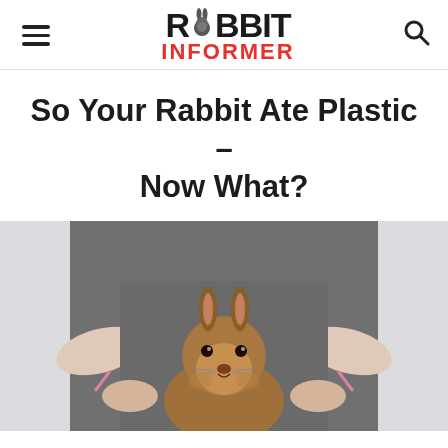RABBIT INFORMER
So Your Rabbit Ate Plastic – Now What?
[Figure (photo): A veterinarian in gray scrubs holding a brown rabbit with its face looking directly at the camera]